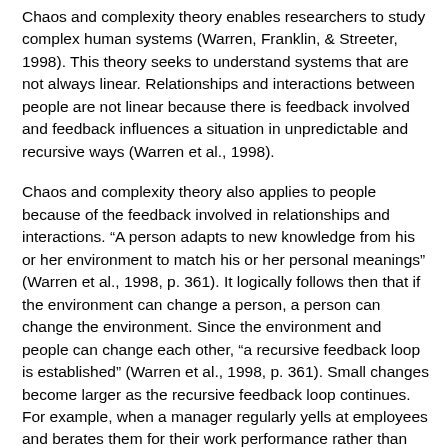Chaos and complexity theory enables researchers to study complex human systems (Warren, Franklin, & Streeter, 1998). This theory seeks to understand systems that are not always linear. Relationships and interactions between people are not linear because there is feedback involved and feedback influences a situation in unpredictable and recursive ways (Warren et al., 1998).
Chaos and complexity theory also applies to people because of the feedback involved in relationships and interactions. "A person adapts to new knowledge from his or her environment to match his or her personal meanings" (Warren et al., 1998, p. 361). It logically follows then that if the environment can change a person, a person can change the environment. Since the environment and people can change each other, "a recursive feedback loop is established" (Warren et al., 1998, p. 361). Small changes become larger as the recursive feedback loop continues. For example, when a manager regularly yells at employees and berates them for their work performance rather than providing coaching and a supportive environment, those employees learn to manage in the same manner. When those employees progress through their careers and eventually become managers themselves, they might manage the way they learned by